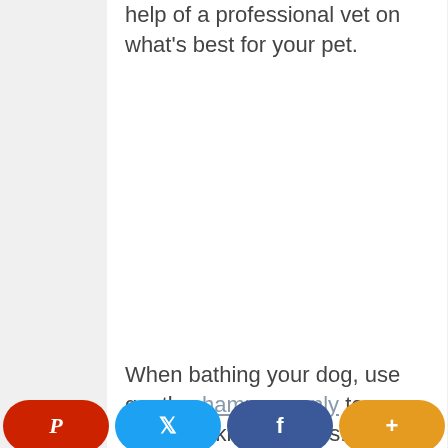help of a professional vet on what's best for your pet.
When bathing your dog, use gentle shampoos only to prevent skin problems. You can wash your dog once a week, once every 3 months, or
[Figure (other): Social sharing button bar at bottom: Pinterest (red), Twitter (blue), Facebook (dark blue), More/Plus (orange)]